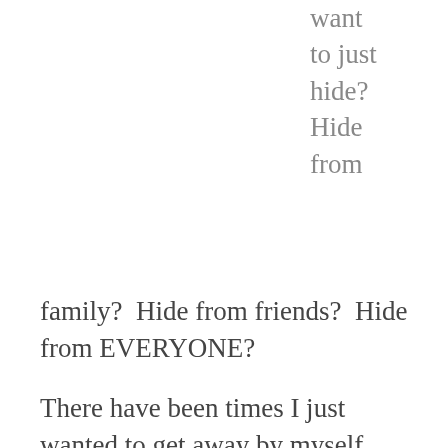want to just hide? Hide from
family?  Hide from friends?  Hide from EVERYONE?
There have been times I just wanted to get away by myself. Maybe a hotel, or maybe a cabin somewhere peaceful and serene.